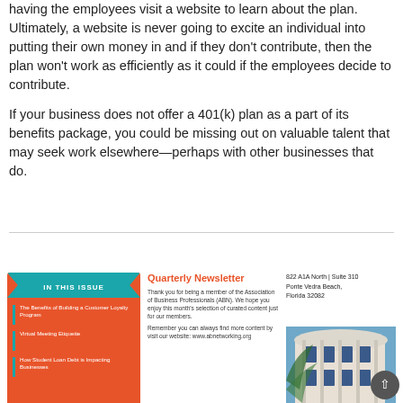having the employees visit a website to learn about the plan. Ultimately, a website is never going to excite an individual into putting their own money in and if they don't contribute, then the plan won't work as efficiently as it could if the employees decide to contribute.
If your business does not offer a 401(k) plan as a part of its benefits package, you could be missing out on valuable talent that may seek work elsewhere—perhaps with other businesses that do.
[Figure (infographic): Orange 'IN THIS ISSUE' box listing: The Benefits of Building a Customer Loyalty Program, Virtual Meeting Etiquette, How Student Loan Debt is Impacting Businesses]
Quarterly Newsletter
Thank you for being a member of the Association of Business Professionals (ABN). We hope you enjoy this month's selection of curated content just for our members.
Remember you can always find more content by visit our website: www.abnetworking.org
822 A1A North | Suite 310
Ponte Vedra Beach,
Florida 32082
[Figure (photo): Photograph of a white building with arched columns and blue sky]